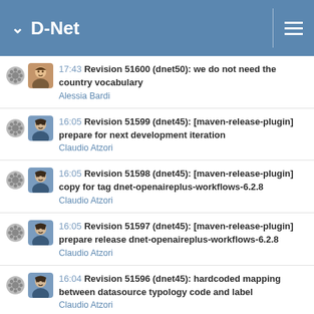D-Net
17:43 Revision 51600 (dnet50): we do not need the country vocabulary
Alessia Bardi
16:05 Revision 51599 (dnet45): [maven-release-plugin] prepare for next development iteration
Claudio Atzori
16:05 Revision 51598 (dnet45): [maven-release-plugin] copy for tag dnet-openaireplus-workflows-6.2.8
Claudio Atzori
16:05 Revision 51597 (dnet45): [maven-release-plugin] prepare release dnet-openaireplus-workflows-6.2.8
Claudio Atzori
16:04 Revision 51596 (dnet45): hardcoded mapping between datasource typology code and label
Claudio Atzori
14:58 Revision 51595 (dnet45): commit after successful build:prod